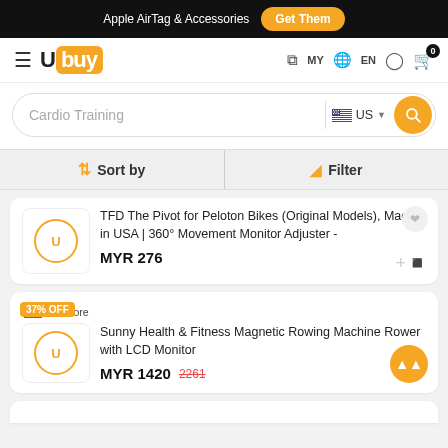Apple AirTag & Accessories  Get Them
[Figure (logo): Ubuy logo with navigation icons: hamburger menu, MY flag, EN, user icon, cart with 0 badge]
[Figure (screenshot): Search bar with 'Cardio Training' placeholder, US flag selector, and orange search button]
Sort by  Filter
TFD The Pivot for Peloton Bikes (Original Models), Made in USA | 360° Movement Monitor Adjuster -
MYR 276
US Store
Sunny Health & Fitness Magnetic Rowing Machine Rower with LCD Monitor
MYR 1420  2261